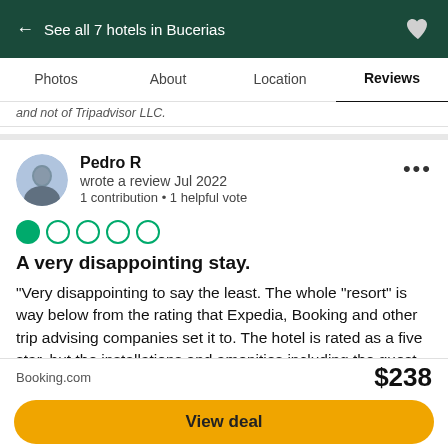← See all 7 hotels in Bucerias
Photos   About   Location   Reviews
and not of Tripadvisor LLC.
Pedro R
wrote a review Jul 2022
1 contribution • 1 helpful vote
[Figure (other): 1 out of 5 circles filled (Tripadvisor rating: 1)]
A very disappointing stay.
"Very disappointing to say the least. The whole "resort" is way below from the rating that Expedia, Booking and other trip advising companies set it to. The hotel is rated as a five star, but the installations and amenities including the guest rooms and lobby are no higher than 2
Booking.com   $238
View deal